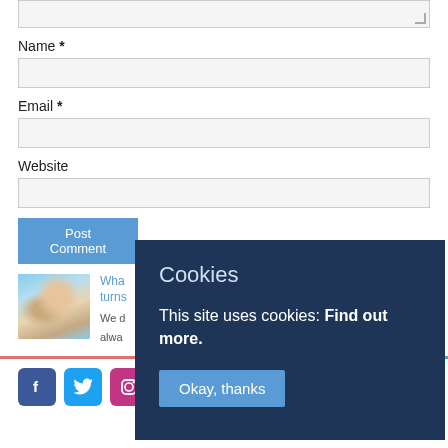[Figure (screenshot): Textarea input box (top of visible area), partially visible]
Name *
[Figure (screenshot): Name text input field]
Email *
[Figure (screenshot): Email text input field]
Website
[Figure (screenshot): Website text input field]
[Figure (screenshot): Post Comment button (blue)]
[Figure (photo): Family photo showing adults and baby smiling]
What turns... We d... alwa...
[Figure (screenshot): Social media icons: Facebook, Twitter, Instagram, Vimeo]
Cookies
This site uses cookies: Find out more.
[Figure (screenshot): Okay, thanks button inside cookie popup]